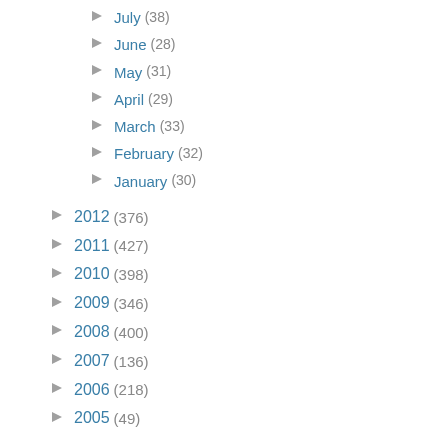July (38)
June (28)
May (31)
April (29)
March (33)
February (32)
January (30)
2012 (376)
2011 (427)
2010 (398)
2009 (346)
2008 (400)
2007 (136)
2006 (218)
2005 (49)